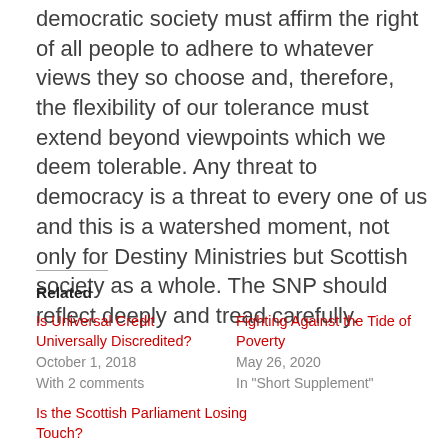democratic society must affirm the right of all people to adhere to whatever views they so choose and, therefore, the flexibility of our tolerance must extend beyond viewpoints which we deem tolerable. Any threat to democracy is a threat to every one of us and this is a watershed moment, not only for Destiny Ministries but Scottish society as a whole. The SNP should reflect deeply and tread carefully.
Related
Is Universal Credit Universally Discredited?
October 1, 2018
With 2 comments
Fighting Against the Tide of Poverty
May 26, 2020
In "Short Supplement"
Is the Scottish Parliament Losing Touch?